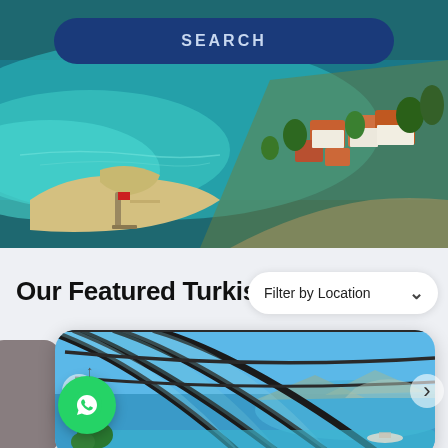[Figure (photo): Aerial view of a Turkish coastal town with turquoise sea, sandy beach with pier, and terracotta-roofed buildings among palm trees and green hills]
SEARCH
Our Featured Turkis…
Filter by Location ∨
[Figure (photo): View of a covered pool area with arched steel and glass roof structure, overlooking turquoise sea and mountains in background]
↑
[Figure (other): WhatsApp contact button (green circle with WhatsApp icon)]